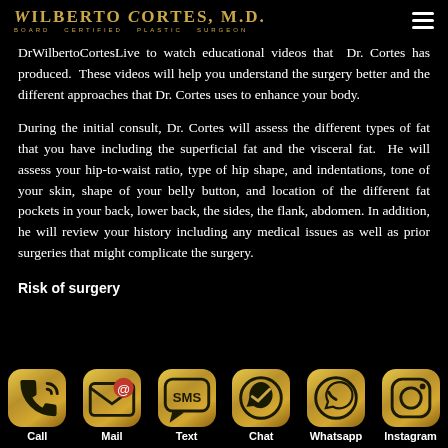WILBERTO CORTES, M.D. BOARD CERTIFIED PLASTIC SURGEON
DrWilbertoCortesLive to watch educational videos that Dr. Cortes has produced. These videos will help you understand the surgery better and the different approaches that Dr. Cortes uses to enhance your body.
During the initial consult, Dr. Cortes will assess the different types of fat that you have including the superficial fat and the visceral fat. He will assess your hip-to-waist ratio, type of hip shape, and indentations, tone of your skin, shape of your belly button, and location of the different fat pockets in your back, lower back, the sides, the flank, abdomen. In addition, he will review your history including any medical issues as well as prior surgeries that might complicate the surgery.
Risk of surgery
[Figure (infographic): Six gold icon buttons in a row at the bottom: Call (phone icon), Mail (envelope icon), Text (SMS bubble icon), Chat (messenger icon), Whatsapp (whatsapp icon), Instagram (instagram camera icon)]